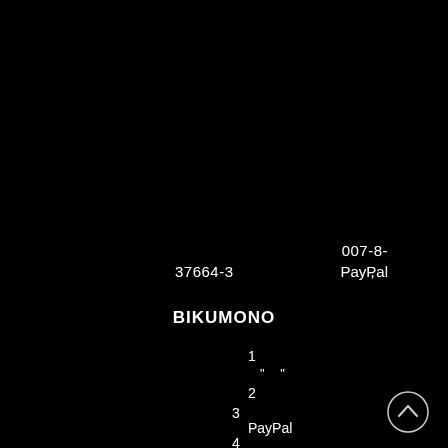007-8-
37664-3
,
PayPal
BIKUMONO
1
" "
2
3
PayPal
4
[Figure (other): Up arrow / chevron button circle in bottom right corner]